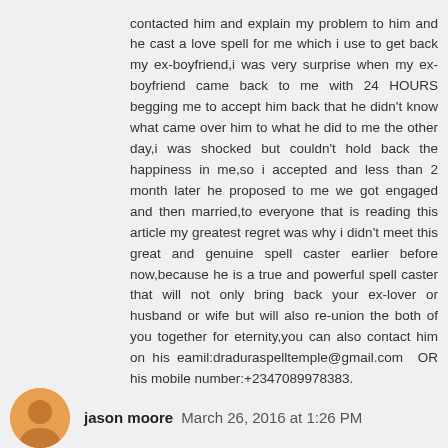contacted him and explain my problem to him and he cast a love spell for me which i use to get back my ex-boyfriend,i was very surprise when my ex-boyfriend came back to me with 24 HOURS begging me to accept him back that he didn't know what came over him to what he did to me the other day,i was shocked but couldn't hold back the happiness in me,so i accepted and less than 2 month later he proposed to me we got engaged and then married,to everyone that is reading this article my greatest regret was why i didn't meet this great and genuine spell caster earlier before now,because he is a true and powerful spell caster that will not only bring back your ex-lover or husband or wife but will also re-union the both of you together for eternity,you can also contact him on his eamil:draduraspelltemple@gmail.com OR his mobile number:+2347089978383.
jason moore March 26, 2016 at 1:26 PM